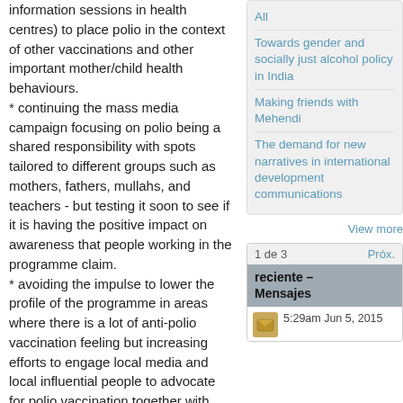information sessions in health centres) to place polio in the context of other vaccinations and other important mother/child health behaviours.
* continuing the mass media campaign focusing on polio being a shared responsibility with spots tailored to different groups such as mothers, fathers, mullahs, and teachers - but testing it soon to see if it is having the positive impact on awareness that people working in the programme claim.
* avoiding the impulse to lower the profile of the programme in areas where there is a lot of anti-polio vaccination feeling but increasing efforts to engage local media and local influential people to advocate for polio vaccination together with other immunisations and behaviours that improve child health.
* providing training opportunities for local influencers: journalists/radio disc jockeys, mullahs, teachers, traditional birth attendants and community workers in the
All
Towards gender and socially just alcohol policy in India
Making friends with Mehendi
The demand for new narratives in international development communications
View more
1 de 3   Próx.
reciente – Mensajes
5:29am Jun 5, 2015